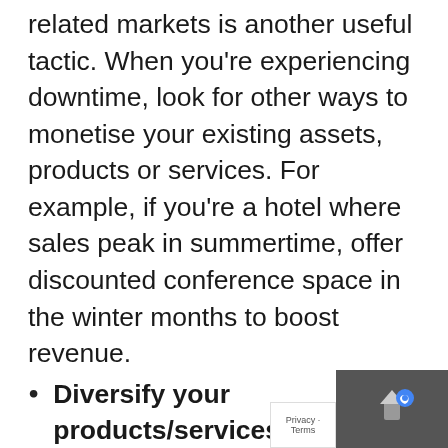related markets is another useful tactic. When you're experiencing downtime, look for other ways to monetise your existing assets, products or services. For example, if you're a hotel where sales peak in summertime, offer discounted conference space in the winter months to boost revenue.
Diversify your products/services – if one product/service has a known seasonal dip, look at adding an additional product or service to offset this downtime. For example, a a ski resort could promote bike-riding or hiking breaks during the warmer summer months to keep revenue constant. Likewise a pool maintenance firm could establish an outdoor fireplace business for the colder months.